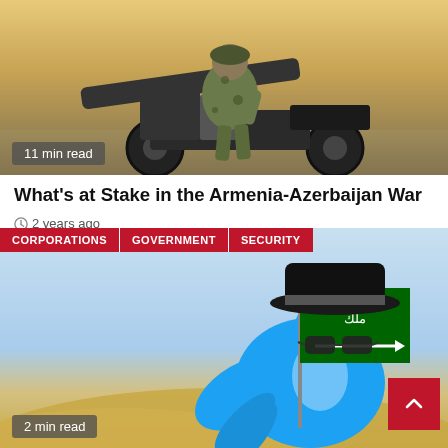[Figure (photo): Soldier operating a large artillery cannon in a desert/battlefield setting]
11 min read
What's at Stake in the Armenia-Azerbaijan War
2 years ago
CORPORATIONS | GOVERNMENT | SECURITY
[Figure (illustration): Twitter bird mascot wearing a spy hat and glasses, carrying a Saudi Arabia flag, set against a desert sky background]
2 min read